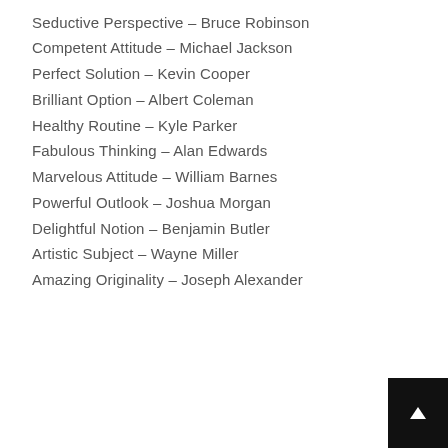Seductive Perspective – Bruce Robinson
Competent Attitude – Michael Jackson
Perfect Solution – Kevin Cooper
Brilliant Option – Albert Coleman
Healthy Routine – Kyle Parker
Fabulous Thinking – Alan Edwards
Marvelous Attitude – William Barnes
Powerful Outlook – Joshua Morgan
Delightful Notion – Benjamin Butler
Artistic Subject – Wayne Miller
Amazing Originality – Joseph Alexander